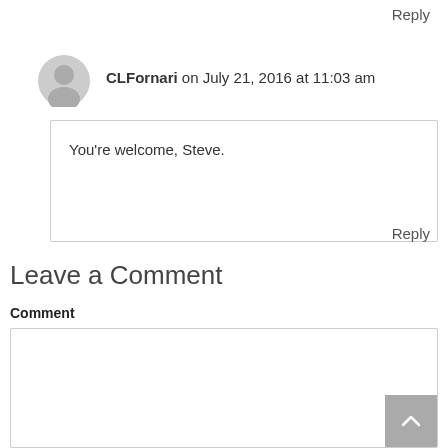Reply
CLFornari on July 21, 2016 at 11:03 am
You’re welcome, Steve.
Reply
Leave a Comment
Comment